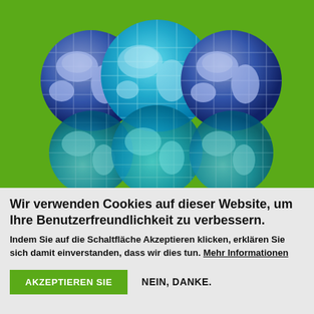[Figure (illustration): Six globe illustrations arranged in two rows of three on a bright green background. Top row: dark blue globe on left, teal/cyan globe in center, dark blue globe on right. Bottom row: reflected/inverted versions of the same globes in teal tones.]
Wir verwenden Cookies auf dieser Website, um Ihre Benutzerfreundlichkeit zu verbessern.
Indem Sie auf die Schaltfläche Akzeptieren klicken, erklären Sie sich damit einverstanden, dass wir dies tun. Mehr Informationen
AKZEPTIEREN SIE   NEIN, DANKE.